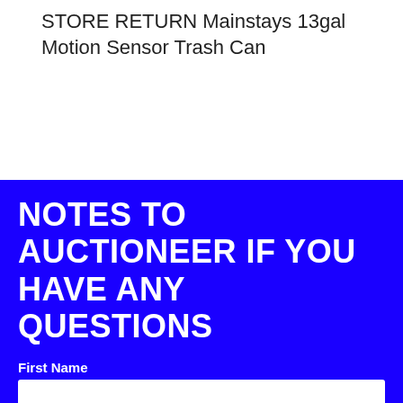STORE RETURN Mainstays 13gal Motion Sensor Trash Can
NOTES TO AUCTIONEER IF YOU HAVE ANY QUESTIONS
First Name
Last Name
Email